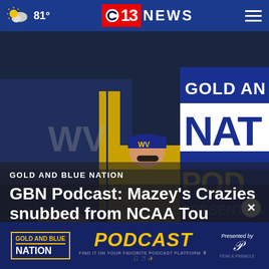81° | 13NEWS
[Figure (photo): WVU baseball players and coaches on field, with Gold and Blue Nation Podcast banner visible on the right side of the image]
GOLD AND BLUE NATION
GBN Podcast: Mazey's Crazies snubbed from NCAA Tournament
[Figure (other): Gold and Blue Nation Podcast advertisement banner with yellow PODCAST text and Presented By branding]